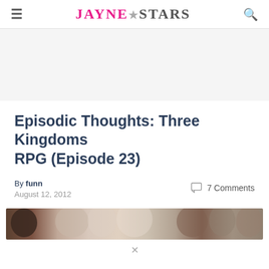JAYNE★STARS
[Figure (other): Advertisement banner placeholder area (gray background)]
Episodic Thoughts: Three Kingdoms RPG (Episode 23)
By funn
August 12, 2012
7 Comments
[Figure (photo): Horizontal photo strip showing cast of Three Kingdoms RPG drama, multiple characters in traditional costume]